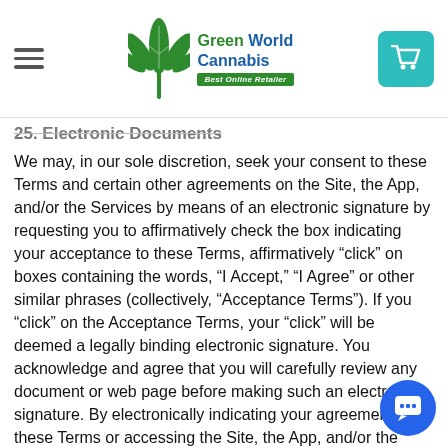Green World Cannabis — Best Online Retailer
25. Electronic Documents
We may, in our sole discretion, seek your consent to these Terms and certain other agreements on the Site, the App, and/or the Services by means of an electronic signature by requesting you to affirmatively check the box indicating your acceptance to these Terms, affirmatively “click” on boxes containing the words, “I Accept,” “I Agree” or other similar phrases (collectively, “Acceptance Terms”). If you “click” on the Acceptance Terms, your “click” will be deemed a legally binding electronic signature. You acknowledge and agree that you will carefully review any document or web page before making such an electronic signature. By electronically indicating your agreement to these Terms or accessing the Site, the App, and/or the Services or using any of the Information or Content after you have had an opportunity to review these Terms, you acknowledge and agree: (i) that you and, where applicable, Patient and/or Primary Caregiver on whose behalf we grant access to the Site, the App, and/or the Services intend to form a